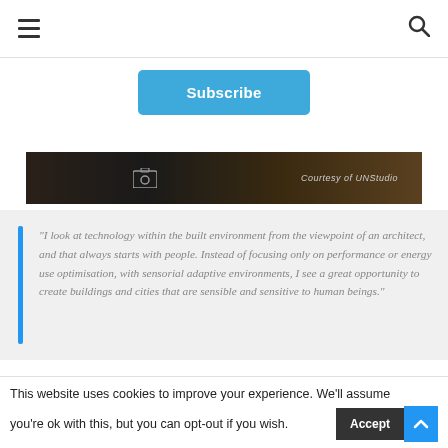Navigation bar with hamburger menu and search icon
Subscribe
[Figure (photo): Dark image strip showing city/architecture at night with text 'Courtesy of UNStudio' and a camera icon on the right side]
"I look at technology within the built environment from the viewpoint of an architect, and that always starts with people. Instead of focusing only on performance or energy use optimisation, with sensorial adaptive environments, I see a great opportunity to create buildings and cities that are sensible and sensitive to human beings."
This website uses cookies to improve your experience. We'll assume you're ok with this, but you can opt-out if you wish.